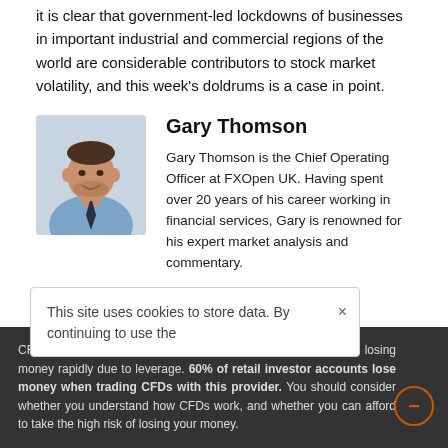it is clear that government-led lockdowns of businesses in important industrial and commercial regions of the world are considerable contributors to stock market volatility, and this week's doldrums is a case in point.
[Figure (photo): Headshot photo of Gary Thomson, a man wearing a light blue shirt and dark tie, smiling slightly.]
Gary Thomson
Gary Thomson is the Chief Operating Officer at FXOpen UK. Having spent over 20 years of his career working in financial services, Gary is renowned for his expert market analysis and commentary.
This site uses cookies to store data. By continuing to use the
CFDs are complex instruments and come with a high risk of losing money rapidly due to leverage. 60% of retail investor accounts lose money when trading CFDs with this provider. You should consider whether you understand how CFDs work, and whether you can afford to take the high risk of losing your money.